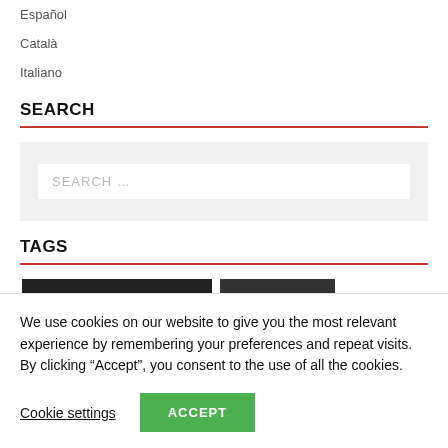Español
Català
Italiano
SEARCH
[Figure (screenshot): Search input box with placeholder text 'SEARCH ...' on a light grey background]
TAGS
[Figure (other): Two dark/black rectangular tag blocks side by side]
We use cookies on our website to give you the most relevant experience by remembering your preferences and repeat visits. By clicking “Accept”, you consent to the use of all the cookies.
Cookie settings
ACCEPT